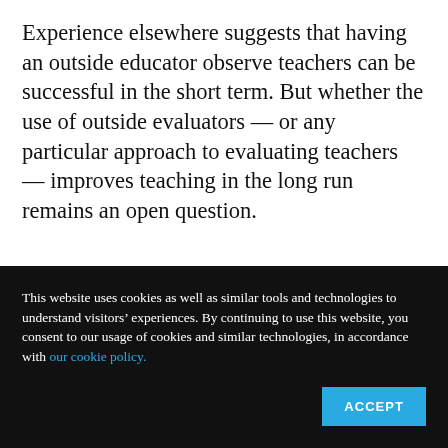Experience elsewhere suggests that having an outside educator observe teachers can be successful in the short term. But whether the use of outside evaluators — or any particular approach to evaluating teachers — improves teaching in the long run remains an open question.
This website uses cookies as well as similar tools and technologies to understand visitors' experiences. By continuing to use this website, you consent to our usage of cookies and similar technologies, in accordance with our cookie policy.